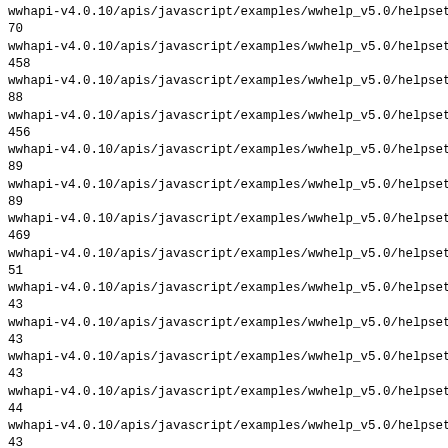wwhapi-v4.0.10/apis/javascript/examples/wwhelp_v5.0/helpsets/He
70
wwhapi-v4.0.10/apis/javascript/examples/wwhelp_v5.0/helpsets/He
458
wwhapi-v4.0.10/apis/javascript/examples/wwhelp_v5.0/helpsets/He
88
wwhapi-v4.0.10/apis/javascript/examples/wwhelp_v5.0/helpsets/He
456
wwhapi-v4.0.10/apis/javascript/examples/wwhelp_v5.0/helpsets/He
89
wwhapi-v4.0.10/apis/javascript/examples/wwhelp_v5.0/helpsets/He
89
wwhapi-v4.0.10/apis/javascript/examples/wwhelp_v5.0/helpsets/He
469
wwhapi-v4.0.10/apis/javascript/examples/wwhelp_v5.0/helpsets/He
51
wwhapi-v4.0.10/apis/javascript/examples/wwhelp_v5.0/helpsets/He
43
wwhapi-v4.0.10/apis/javascript/examples/wwhelp_v5.0/helpsets/He
43
wwhapi-v4.0.10/apis/javascript/examples/wwhelp_v5.0/helpsets/He
43
wwhapi-v4.0.10/apis/javascript/examples/wwhelp_v5.0/helpsets/He
44
wwhapi-v4.0.10/apis/javascript/examples/wwhelp_v5.0/helpsets/He
43
wwhapi-v4.0.10/apis/javascript/examples/wwhelp_v5.0/helpsets/He
44
wwhapi-v4.0.10/apis/javascript/examples/wwhelp_v5.0/helpsets/He
43
wwhapi-v4.0.10/apis/javascript/examples/wwhelp_v5.0/helpsets/He
43
wwhapi-v4.0.10/apis/javascript/examples/wwhelp_v5.0/helpsets/He
455
wwhapi-v4.0.10/apis/javascript/examples/wwhelp_v5.0/helpsets/He
83
wwhapi-v4.0.10/apis/javascript/examples/wwhelp_v5.0/helpsets/He
817